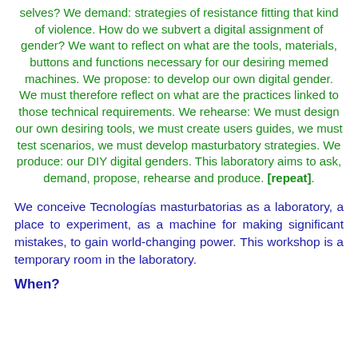selves? We demand: strategies of resistance fitting that kind of violence. How do we subvert a digital assignment of gender? We want to reflect on what are the tools, materials, buttons and functions necessary for our desiring memed machines. We propose: to develop our own digital gender. We must therefore reflect on what are the practices linked to those technical requirements. We rehearse: We must design our own desiring tools, we must create users guides, we must test scenarios, we must develop masturbatory strategies. We produce: our DIY digital genders. This laboratory aims to ask, demand, propose, rehearse and produce. [repeat].
We conceive Tecnologías masturbatorias as a laboratory, a place to experiment, as a machine for making significant mistakes, to gain world-changing power. This workshop is a temporary room in the laboratory.
When?